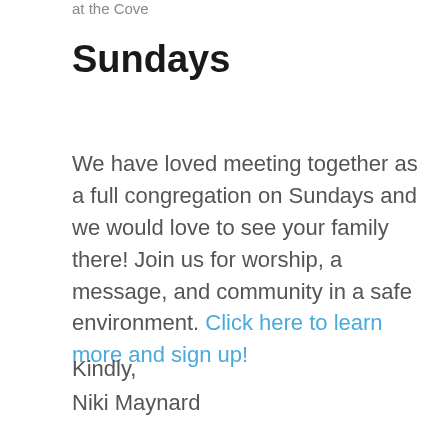at the Cove
Sundays
We have loved meeting together as a full congregation on Sundays and we would love to see your family there! Join us for worship, a message, and community in a safe environment. Click here to learn more and sign up!
Kindly,
Niki Maynard